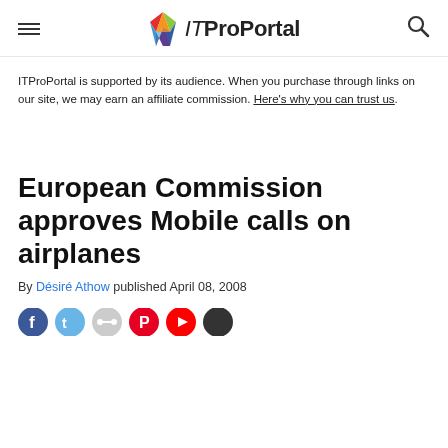ITProPortal
ITProPortal is supported by its audience. When you purchase through links on our site, we may earn an affiliate commission. Here's why you can trust us.
European Commission approves Mobile calls on airplanes
By Désiré Athow published April 08, 2008